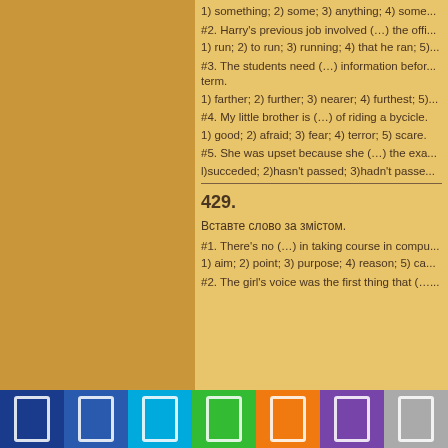1) something; 2) some; 3) anything; 4) some...
#2. Harry's previous job involved (…) the offi...
1) run; 2) to run; 3) running; 4) that he ran; 5)...
#3. The students need (…) information before... term.
1) farther; 2) further; 3) nearer; 4) furthest; 5)...
#4. My little brother is (…) of riding a bycicle.
1) good; 2) afraid; 3) fear; 4) terror; 5) scare.
#5. She was upset because she (…) the exa...
l)succeded; 2)hasn't passed; 3)hadn't passe...
429.
Вставте слово за змістом.
#1. There's no (…) in taking course in compu...
1) aim; 2) point; 3) purpose; 4) reason; 5) ca...
#2. The girl's voice was the first thing that (…...